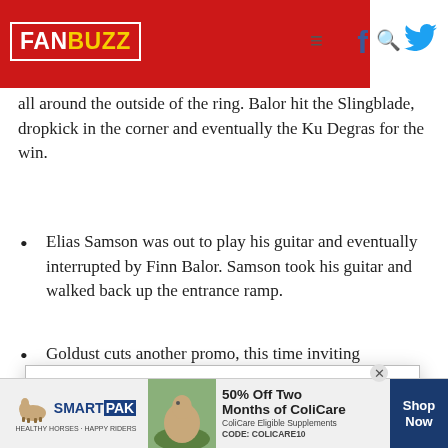FANBUZZ
all around the outside of the ring. Balor hit the Slingblade, dropkick in the corner and eventually the Ku Degras for the win.
Elias Samson was out to play his guitar and eventually interrupted by Finn Balor. Samson took his guitar and walked back up the entrance ramp.
Goldust cuts another promo, this time inviting
In accordance with our Privacy Policy, we may share with our parent company (PCH) and advertising partners an anonymized identifier that protects your privacy, provides advertising tailored to your interests and gives you access to advertising supported content. Data collected on one of our sites may be used on our other owned and operated sites, which sites are identified in our Privacy Policy. All of our sites are governed by the same
SmartPak — 50% Off Two Months of ColiCare. ColiCare Eligible Supplements. CODE: COLICARE10. Shop Now